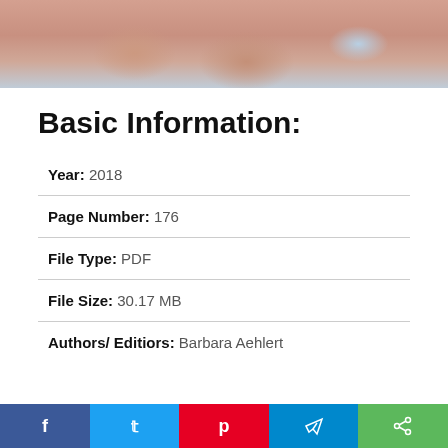[Figure (photo): Close-up photo of hands, likely holding a newborn or infant, with a patterned fabric visible in the background.]
Basic Information:
Year: 2018
Page Number: 176
File Type: PDF
File Size: 30.17 MB
Authors/ Editiors: Barbara Aehlert
[Figure (other): Social media share buttons: Facebook (blue), Twitter (light blue), Pinterest (red), Telegram (blue), Share (green)]